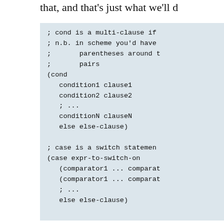that, and that's just what we'll d
; cond is a multi-clause if
; n.b. in scheme you'd have
;       parentheses around t
;       pairs
(cond
   condition1 clause1
   condition2 clause2
   ; ...
   conditionN clauseN
   else else-clause)

; case is a switch statemen
(case expr-to-switch-on
   (comparator1 ... comparat
   (comparator1 ... comparat
   ; ...
   else else-clause)